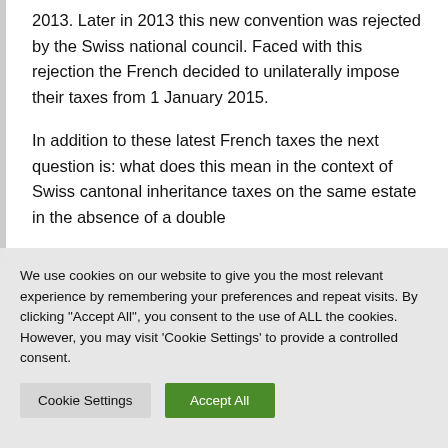2013. Later in 2013 this new convention was rejected by the Swiss national council. Faced with this rejection the French decided to unilaterally impose their taxes from 1 January 2015.
In addition to these latest French taxes the next question is: what does this mean in the context of Swiss cantonal inheritance taxes on the same estate in the absence of a double
We use cookies on our website to give you the most relevant experience by remembering your preferences and repeat visits. By clicking "Accept All", you consent to the use of ALL the cookies. However, you may visit 'Cookie Settings' to provide a controlled consent.